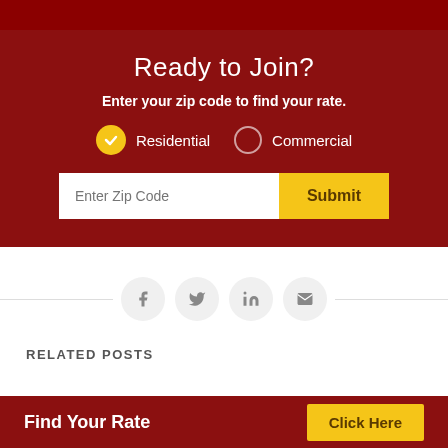Ready to Join?
Enter your zip code to find your rate.
Residential  Commercial
Enter Zip Code  Submit
[Figure (infographic): Social sharing icons: Facebook, Twitter, LinkedIn, Email]
RELATED POSTS
Find Your Rate   Click Here